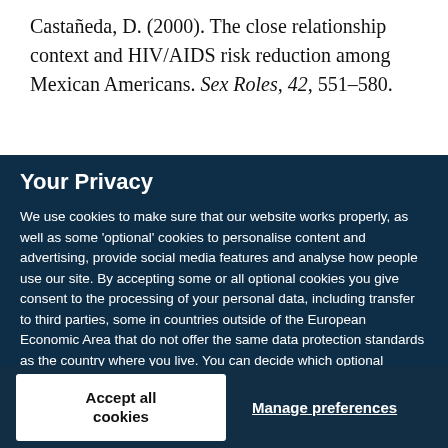Castañeda, D. (2000). The close relationship context and HIV/AIDS risk reduction among Mexican Americans. Sex Roles, 42, 551–580.
Your Privacy
We use cookies to make sure that our website works properly, as well as some 'optional' cookies to personalise content and advertising, provide social media features and analyse how people use our site. By accepting some or all optional cookies you give consent to the processing of your personal data, including transfer to third parties, some in countries outside of the European Economic Area that do not offer the same data protection standards as the country where you live. You can decide which optional cookies to accept by clicking on 'Manage Settings', where you can also find more information about how your personal data is processed. Further information can be found in our privacy policy.
Accept all cookies
Manage preferences